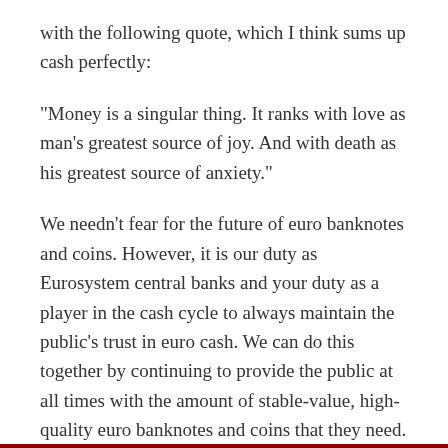with the following quote, which I think sums up cash perfectly:
"Money is a singular thing. It ranks with love as man's greatest source of joy. And with death as his greatest source of anxiety."
We needn't fear for the future of euro banknotes and coins. However, it is our duty as Eurosystem central banks and your duty as a player in the cash cycle to always maintain the public's trust in euro cash. We can do this together by continuing to provide the public at all times with the amount of stable-value, high-quality euro banknotes and coins that they need.
Thank you for your attention.